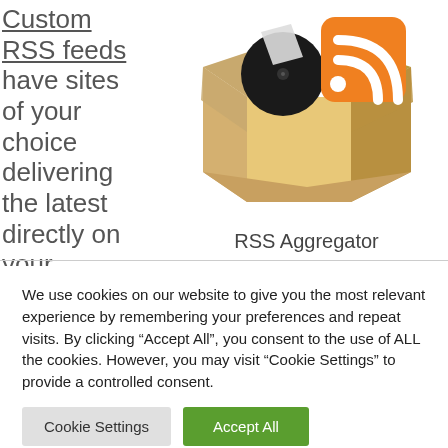Custom RSS feeds have sites of your choice delivering the latest directly on your screen.
[Figure (illustration): An open cardboard box containing an orange RSS feed icon and a black vinyl record, representing an RSS Aggregator.]
RSS Aggregator
We use cookies on our website to give you the most relevant experience by remembering your preferences and repeat visits. By clicking “Accept All”, you consent to the use of ALL the cookies. However, you may visit "Cookie Settings" to provide a controlled consent.